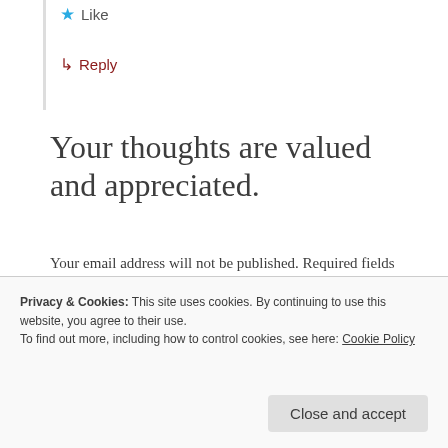★ Like
↳ Reply
Your thoughts are valued and appreciated.
Your email address will not be published. Required fields are marked *
Comment *
Privacy & Cookies: This site uses cookies. By continuing to use this website, you agree to their use.
To find out more, including how to control cookies, see here: Cookie Policy
Close and accept